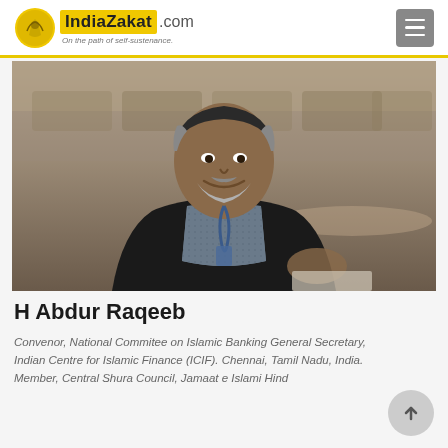IndiaZakat.com - On the path of self-sustenance.
[Figure (photo): Portrait photograph of H Abdur Raqeeb, an elderly man with a grey beard, wearing a dark blazer and patterned shirt with a lanyard, smiling, apparently at a conference or meeting.]
H Abdur Raqeeb
Convenor, National Commitee on Islamic Banking General Secretary, Indian Centre for Islamic Finance (ICIF). Chennai, Tamil Nadu, India. Member, Central Shura Council, Jamaat e Islami Hind